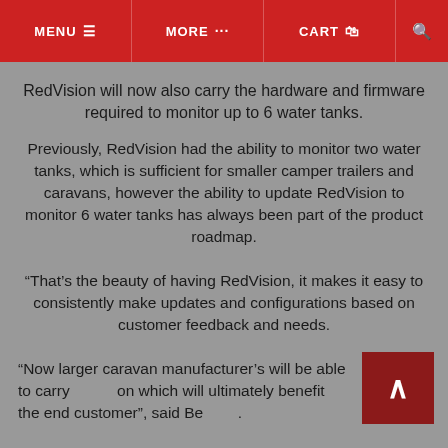MENU ≡  MORE ···  CART 🛍  🔍
RedVision will now also carry the hardware and firmware required to monitor up to 6 water tanks.
Previously, RedVision had the ability to monitor two water tanks, which is sufficient for smaller camper trailers and caravans, however the ability to update RedVision to monitor 6 water tanks has always been part of the product roadmap.
“That’s the beauty of having RedVision, it makes it easy to consistently make updates and configurations based on customer feedback and needs.
“Now larger caravan manufacturer’s will be able to carry [RedVision] on which will ultimately benefit the end customer”, said Be[n]…